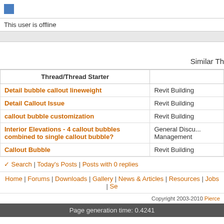[Figure (logo): Small blue grid/table icon]
This user is offline
Similar Th...
| Thread/Thread Starter |  |
| --- | --- |
| Detail bubble callout lineweight | Revit Building |
| Detail Callout Issue | Revit Building |
| callout bubble customization | Revit Building |
| Interior Elevations - 4 callout bubbles combined to single callout bubble? | General Discu... Management |
| Callout Bubble | Revit Building |
✓ Search | Today's Posts | Posts with 0 replies
Home | Forums | Downloads | Gallery | News & Articles | Resources | Jobs | Se...
Copyright 2003-2010 Pierce...
Page generation time: 0.4241